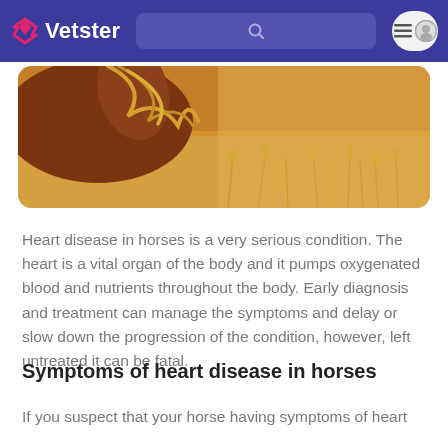Vetster
[Figure (photo): A horse with golden-brown mane standing in a field of golden dry grass, photographed in warm sunlight. The image is cropped to show the horse's neck, mane, and the surrounding field.]
Heart disease in horses is a very serious condition. The heart is a vital organ of the body and it pumps oxygenated blood and nutrients throughout the body. Early diagnosis and treatment can manage the symptoms and delay or slow down the progression of the condition, however, left untreated it can be fatal.
Symptoms of heart disease in horses
If you suspect that your horse having symptoms of heart disease, you want to see a vet right away. Some